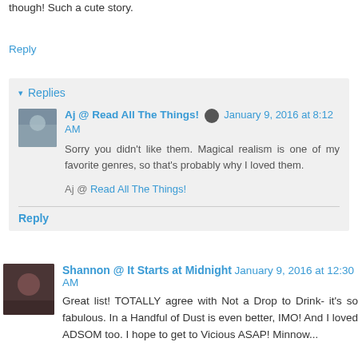though! Such a cute story.
Reply
Replies
Aj @ Read All The Things! January 9, 2016 at 8:12 AM
Sorry you didn't like them. Magical realism is one of my favorite genres, so that's probably why I loved them.
Aj @ Read All The Things!
Reply
Shannon @ It Starts at Midnight January 9, 2016 at 12:30 AM
Great list! TOTALLY agree with Not a Drop to Drink- it's so fabulous. In a Handful of Dust is even better, IMO! And I loved ADSOM too. I hope to get to Vicious ASAP! Minnow...